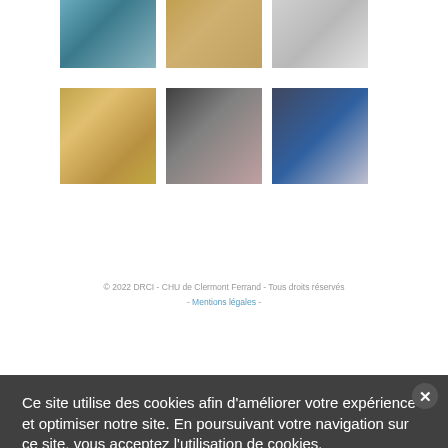[Figure (photo): Grid of six laboratory photos showing medical/biological research: lab workers in protective gear, test tubes and samples, centrifuge equipment]
Voir plus d'images
Ce site utilise des cookies afin d'améliorer votre expérience et optimiser notre site. En poursuivant votre navigation sur ce site, vous acceptez l'utilisation de cookies.
En savoir plus sur les cookies et notre politique de confidentialité.
© 2022 DRCI - CHU de Clermont Ferrand - Tous droits réservés - Mentions légales -